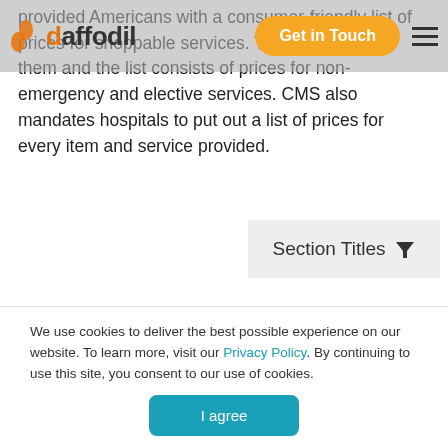daffodil | Get in Touch
provided Americans with a consumer-friendly list of prices for shoppable services. This is to educate them and the list consists of prices for non-emergency and elective services. CMS also mandates hospitals to put out a list of prices for every item and service provided.
These tools help patients as now the patients know how much to pay and for what. Before opting for a service, patients can now research different providers' prices, choose the most affordable or high-value options, taking away the surprise of the medical bills. When patients have a clear picture of the cost of the health...
We use cookies to deliver the best possible experience on our website. To learn more, visit our Privacy Policy. By continuing to use this site, you consent to our use of cookies.